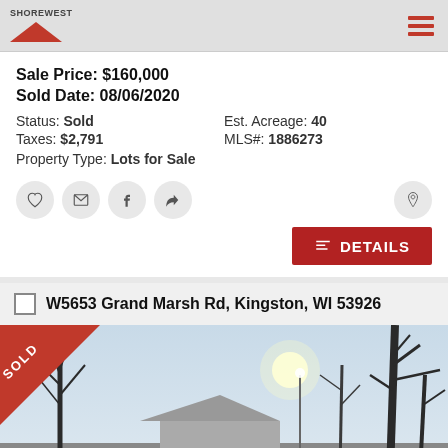Shorewest
Sale Price: $160,000
Sold Date: 08/06/2020
Status: Sold | Est. Acreage: 40
Taxes: $2,791 | MLS#: 1886273
Property Type: Lots for Sale
[Figure (other): Row of action icon buttons: heart, email, facebook, share, and a map pin icon on the right]
[Figure (other): Red DETAILS button with list icon]
W5653 Grand Marsh Rd, Kingston, WI 53926
[Figure (photo): Property photo showing bare winter trees, a small house/structure, and sky. Red SOLD diagonal banner in top-left corner.]